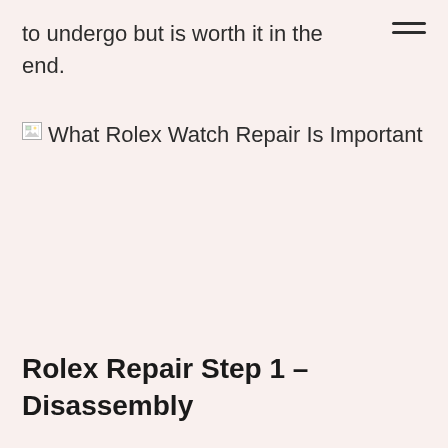to undergo but is worth it in the end.
[Figure (photo): Broken image placeholder with alt text: What Rolex Watch Repair Is Important]
Rolex Repair Step 1 – Disassembly